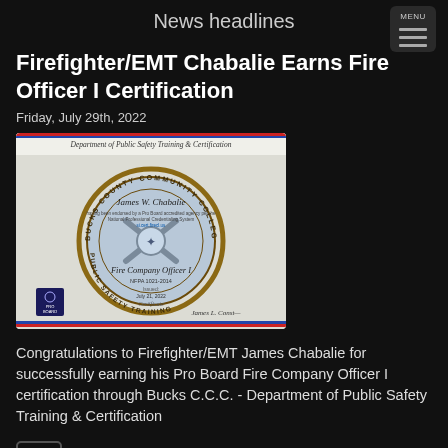News headlines
Firefighter/EMT Chabalie Earns Fire Officer I Certification
Friday, July 29th, 2022
[Figure (photo): Certificate from Bucks County Community College Department of Public Safety Training & Certification awarded to James W. Chabalie for Fire Company Officer I, issued July 21, 2022, with Pro Board seal and signature.]
Congratulations to Firefighter/EMT James Chabalie for successfully earning his Pro Board Fire Company Officer I certification through Bucks C.C.C. - Department of Public Safety Training & Certification